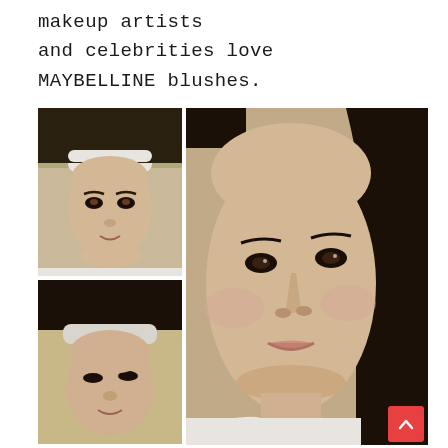makeup artists and celebrities love MAYBELLINE blushes.
[Figure (photo): Collage of three photos showing an Asian woman: top-left shows her face straight-on with a white headband and no makeup, bottom-left shows her face from above with a white headband, and right (large) shows a close-up selfie of her face with subtle makeup including blush.]